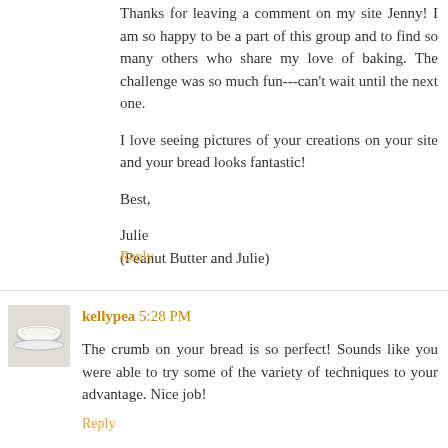Thanks for leaving a comment on my site Jenny! I am so happy to be a part of this group and to find so many others who share my love of baking. The challenge was so much fun---can't wait until the next one.

I love seeing pictures of your creations on your site and your bread looks fantastic!

Best,

Julie
(Peanut Butter and Julie)
Reply
[Figure (photo): Small avatar image showing a white bowl or cup on a surface]
kellypea 5:28 PM
The crumb on your bread is so perfect! Sounds like you were able to try some of the variety of techniques to your advantage. Nice job!
Reply